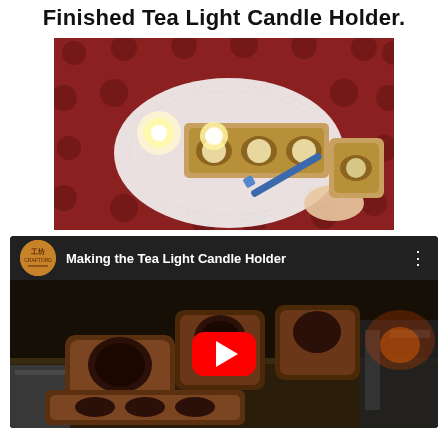Finished Tea Light Candle Holder.
[Figure (photo): Photo of finished tea light candle holder on red polka-dot tablecloth with white doily, showing lit candles being ignited with a blue lighter]
[Figure (screenshot): YouTube video embed titled 'Making the Tea Light Candle Holder' with channel icon, three-dot menu, and red play button overlay on dark video thumbnail showing wooden candle holders on a workbench]